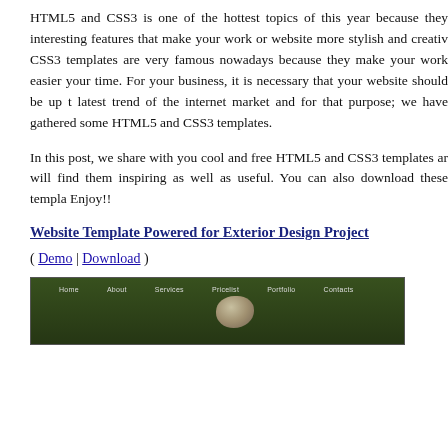HTML5 and CSS3 is one of the hottest topics of this year because they interesting features that make your work or website more stylish and creative. CSS3 templates are very famous nowadays because they make your work easier your time. For your business, it is necessary that your website should be up to latest trend of the internet market and for that purpose; we have gathered some HTML5 and CSS3 templates.
In this post, we share with you cool and free HTML5 and CSS3 templates and will find them inspiring as well as useful. You can also download these templates. Enjoy!!
Website Template Powered for Exterior Design Project
( Demo | Download )
[Figure (screenshot): Screenshot of a website template for exterior design project showing a dark green navigation bar with menu items: Home, About, Services, Pricelist, Portfolio, Contacts, and a rock/stone image in the center against a nature background.]